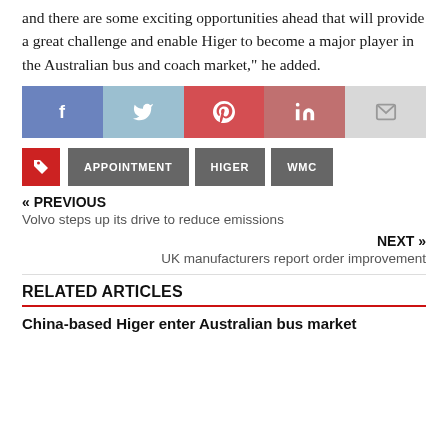and there are some exciting opportunities ahead that will provide a great challenge and enable Higer to become a major player in the Australian bus and coach market," he added.
[Figure (infographic): Social sharing buttons row: Facebook (blue-purple), Twitter (light blue), Pinterest (red), LinkedIn (muted red), Email (light grey)]
APPOINTMENT
HIGER
WMC
« PREVIOUS
Volvo steps up its drive to reduce emissions
NEXT »
UK manufacturers report order improvement
RELATED ARTICLES
China-based Higer enter Australian bus market